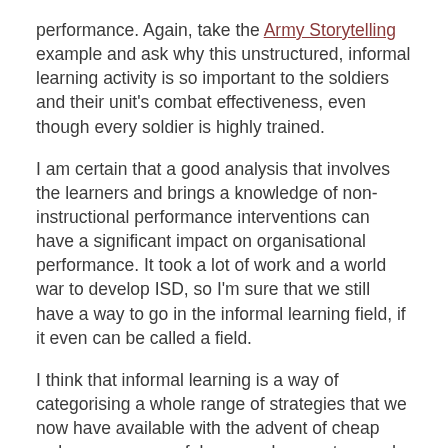performance. Again, take the Army Storytelling example and ask why this unstructured, informal learning activity is so important to the soldiers and their unit's combat effectiveness, even though every soldier is highly trained.
I am certain that a good analysis that involves the learners and brings a knowledge of non-instructional performance interventions can have a significant impact on organisational performance. It took a lot of work and a world war to develop ISD, so I'm sure that we still have a way to go in the informal learning field, if it even can be called a field.
I think that informal learning is a way of categorising a whole range of strategies that we now have available with the advent of cheap web access, powerful personal computers and low cost applications likes blogs, wikis, tags, etc. Informal learning offers a new array of tools for the learning professionalâ€™s tool